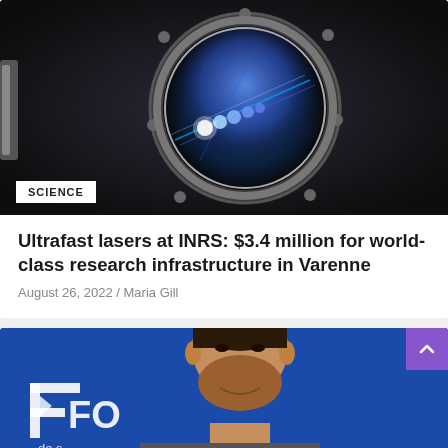[Figure (photo): Laser laboratory equipment showing a circular porthole/window with bright blue laser lights visible inside, mounted on a dark metal apparatus]
SCIENCE
Ultrafast lasers at INRS: $3.4 million for world-class research infrastructure in Varenne
August 26, 2022 / Maria Gill
[Figure (photo): Man smiling in front of a blue background with partial text 'FO' and 'de s' visible, appearing to be a conference or event backdrop]